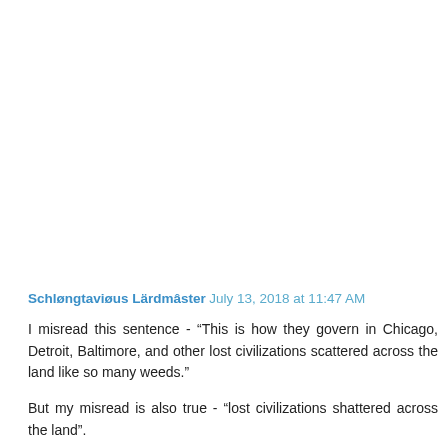Schløngtaviøus Lärdmâster July 13, 2018 at 11:47 AM
I misread this sentence - “This is how they govern in Chicago, Detroit, Baltimore, and other lost civilizations scattered across the land like so many weeds.”
But my misread is also true - “lost civilizations shattered across the land”.